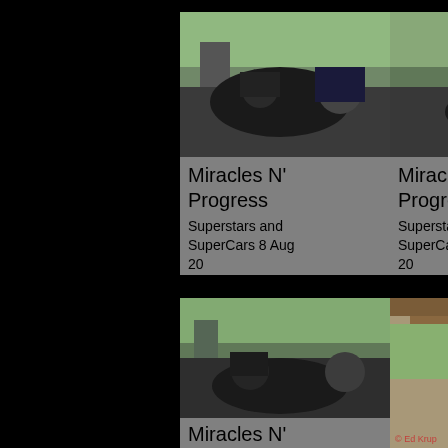[Figure (photo): Two men seated in a sports car at an outdoor event, parking lot with trees in background]
Miracles N' Progress
Superstars and SuperCars 8 Aug 20
[Figure (photo): Two men near a sports car at an outdoor event, one in yellow shirt]
Miracles N' Progress
Superstars and SuperCars 8 Aug 20
[Figure (illustration): Gold/amber colored square block]
[Figure (photo): Two men in a sports car at outdoor event]
Miracles N' Progress
Superstars and
[Figure (photo): Man standing next to American flag under a wooden shelter structure, outdoor garden setting. © Ed Krupinski watermark.]